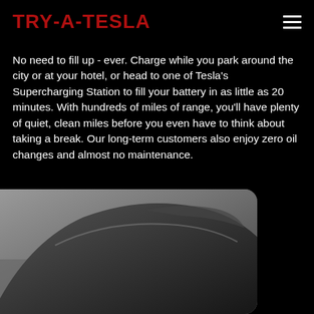TRY-A-TESLA
No need to fill up - ever. Charge while you park around the city or at your hotel, or head to one of Tesla's Supercharging Station to fill your battery in as little as 20 minutes. With hundreds of miles of range, you'll have plenty of quiet, clean miles before you even have to think about taking a break. Our long-term customers also enjoy zero oil changes and almost no maintenance.
[Figure (photo): Grayscale close-up photo of the top/roof of a Tesla vehicle, showing the curved roofline and windshield area, with a blurred road background.]